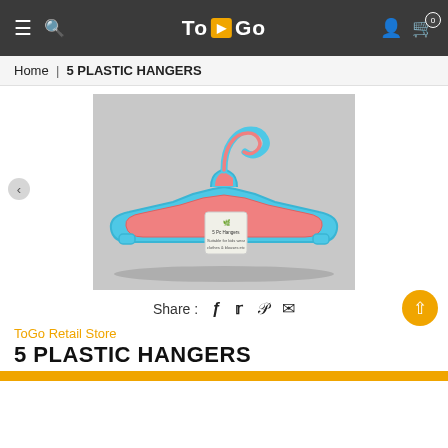ToGo — Navigation header with hamburger, search, logo, user icon, cart (0)
Home | 5 PLASTIC HANGERS
[Figure (photo): Photo of 5 plastic hangers (blue outline with pink interior) stacked together with a product tag, displayed on a light gray background.]
Share : f (Facebook) t (Twitter) p (Pinterest) envelope (Email)
ToGo Retail Store
5 PLASTIC HANGERS